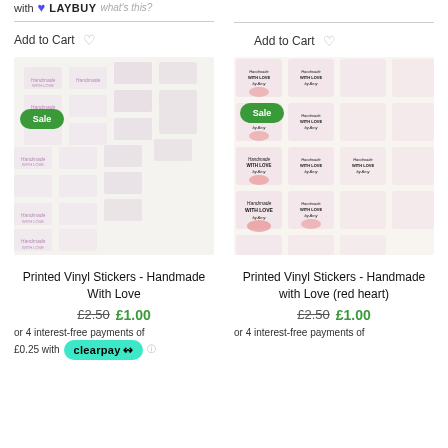with LAYBUY what's this?
Add to Cart
Add to Cart
[Figure (photo): Sheet of printed vinyl stickers showing 'Handmade With Love' text in purple/pink, with a Sale badge overlay]
[Figure (photo): Sheet of printed vinyl stickers showing 'Handmade WITH LOVE by Amy' text with pink heart design, with a Sale badge overlay]
Printed Vinyl Stickers - Handmade With Love
Printed Vinyl Stickers - Handmade with Love (red heart)
£2.50 £1.00
£2.50 £1.00
or 4 interest-free payments of £0.25 with clearpay
or 4 interest-free payments of